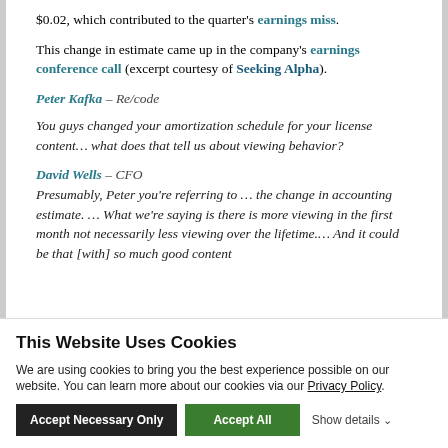$0.02, which contributed to the quarter's earnings miss.
This change in estimate came up in the company's earnings conference call (excerpt courtesy of Seeking Alpha).
Peter Kafka – Re/code
You guys changed your amortization schedule for your license content… what does that tell us about viewing behavior?
David Wells – CFO
Presumably, Peter you're referring to … the change in accounting estimate. … What we're saying is there is more viewing in the first month not necessarily less viewing over the lifetime.… And it could be that [with] so much good content
This Website Uses Cookies
We are using cookies to bring you the best experience possible on our website. You can learn more about our cookies via our Privacy Policy.
Accept Necessary Only | Accept All | Show details